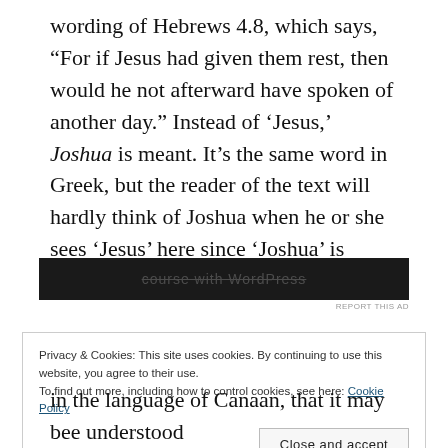wording of Hebrews 4.8, which says, “For if Jesus had given them rest, then would he not afterward have spoken of another day.” Instead of ‘Jesus,’ Joshua is meant. It’s the same word in Greek, but the reader of the text will hardly think of Joshua when he or she sees ‘Jesus’ here since ‘Joshua’ is found everywhere in the OT.
[Figure (screenshot): Dark advertisement banner with partially visible text reading 'course with WordPress']
Privacy & Cookies: This site uses cookies. By continuing to use this website, you agree to their use.
To find out more, including how to control cookies, see here: Cookie Policy
[Close and accept button]
in the language of Canaan, that it may bee understood